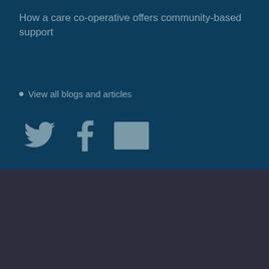How a care co-operative offers community-based support
View all blogs and articles
[Figure (infographic): Social media icons: Twitter bird, Facebook f, YouTube logo arranged horizontally]
Your choice regarding cookies on this site
We use cookies to optimise site functionality and give you the best possible experience.
I Accept Cookies
Manage cookies